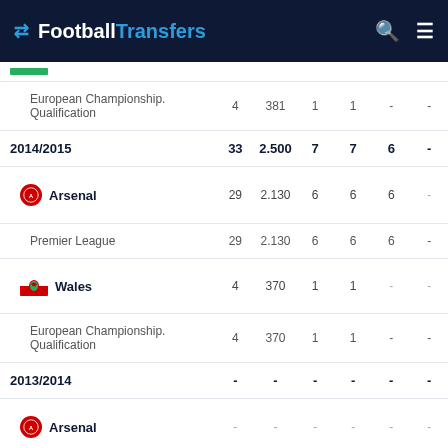FootballTransfers
|  |  |  |  |  |  |  |
| --- | --- | --- | --- | --- | --- | --- |
| European Championship. Qualification | 4 | 381 | 1 | 1 | - | - |
| 2014/2015 | 33 | 2.500 | 7 | 7 | 6 | - |
| Arsenal | 29 | 2.130 | 6 | 6 | 6 | - |
| Premier League | 29 | 2.130 | 6 | 6 | 6 | - |
| Wales | 4 | 370 | 1 | 1 | - | - |
| European Championship. Qualification | 4 | 370 | 1 | 1 | - | - |
| 2013/2014 | - | - | - | - | - | - |
| Arsenal | - | - | - | - | - | - |
| Premier League | - | - | - | - | - | - |
| 2012/2013 |  |  |  |  |  |  |